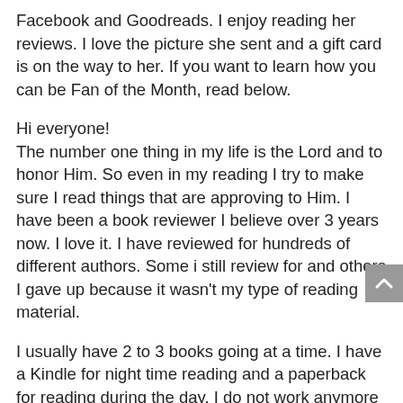Facebook and Goodreads. I enjoy reading her reviews. I love the picture she sent and a gift card is on the way to her. If you want to learn how you can be Fan of the Month, read below.
Hi everyone!
The number one thing in my life is the Lord and to honor Him. So even in my reading I try to make sure I read things that are approving to Him. I have been a book reviewer I believe over 3 years now. I love it. I have reviewed for hundreds of different authors. Some i still review for and others I gave up because it wasn't my type of reading material.
I usually have 2 to 3 books going at a time. I have a Kindle for night time reading and a paperback for reading during the day. I do not work anymore so I can pretty much devote my time to reading. I love Mysteries, Christian Fiction, and Amish Fiction. I pretty much read anything as long as it is clean.